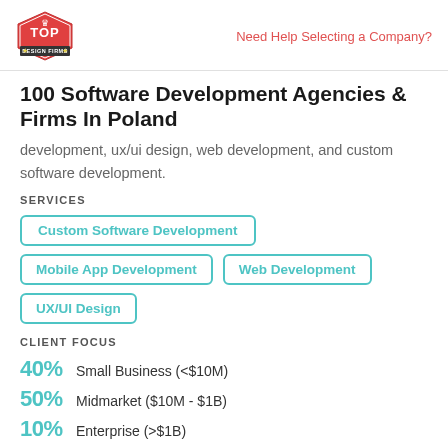Top Design Firms | Need Help Selecting a Company?
100 Software Development Agencies & Firms In Poland
development, ux/ui design, web development, and custom software development.
SERVICES
Custom Software Development
Mobile App Development
Web Development
UX/UI Design
CLIENT FOCUS
40% Small Business (<$10M)
50% Midmarket ($10M - $1B)
10% Enterprise (>$1B)